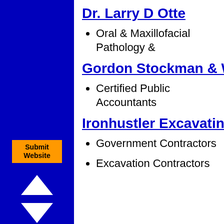Dr. Larry D Otte
Oral & Maxillofacial Pathology &
Gordon Stockman & Waugh PC
Certified Public Accountants
Ironhustler Excavating Inc
Government Contractors
Excavation Contractors